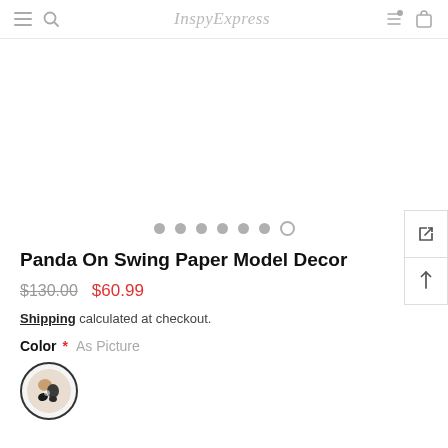InspyExpress
[Figure (other): Product image carousel area (blank/white), with 7 navigation dots below (6 filled, 1 open circle)]
Panda On Swing Paper Model Decor
$130.00  $60.99
Shipping calculated at checkout.
Color *  As Picture
[Figure (photo): Circular swatch showing panda figurine color option]